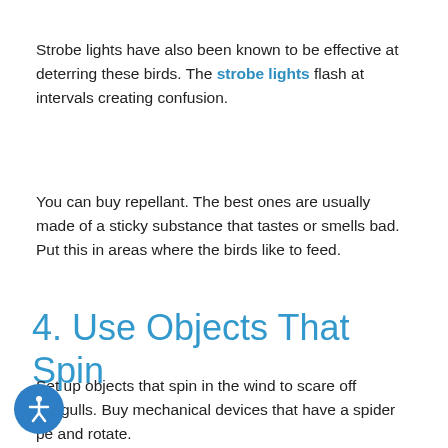Strobe lights have also been known to be effective at deterring these birds. The strobe lights flash at intervals creating confusion.
You can buy repellant. The best ones are usually made of a sticky substance that tastes or smells bad. Put this in areas where the birds like to feed.
4. Use Objects That Spin
Set up objects that spin in the wind to scare off seagulls. Buy mechanical devices that have a spider pe and rotate.